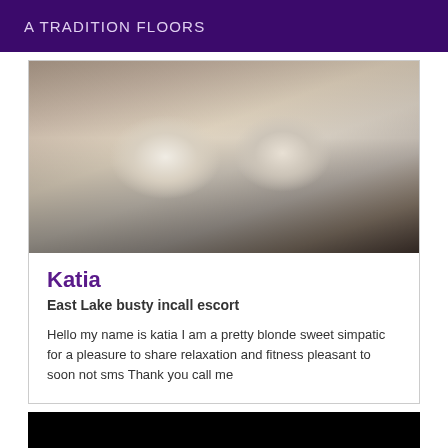A TRADITION FLOORS
[Figure (photo): Close-up photo of a person in a white lace bra, cropped to show chest area only, blurred/dark background]
Katia
East Lake busty incall escort
Hello my name is katia I am a pretty blonde sweet simpatic for a pleasure to share relaxation and fitness pleasant to soon not sms Thank you call me
[Figure (photo): Black/dark image, content not visible]